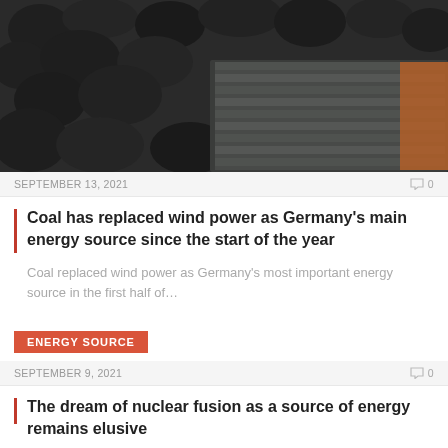[Figure (photo): Close-up photo of coal pieces with a gloved hand (striped grey and white work glove with red cuff) resting on the coal.]
SEPTEMBER 13, 2021   💬0
Coal has replaced wind power as Germany's main energy source since the start of the year
Coal replaced wind power as Germany's most important energy source in the first half of...
ENERGY SOURCE
SEPTEMBER 9, 2021   💬0
The dream of nuclear fusion as a source of energy remains elusive